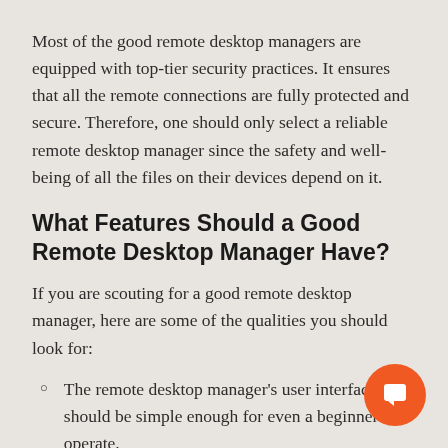Most of the good remote desktop managers are equipped with top-tier security practices. It ensures that all the remote connections are fully protected and secure. Therefore, one should only select a reliable remote desktop manager since the safety and well-being of all the files on their devices depend on it.
What Features Should a Good Remote Desktop Manager Have?
If you are scouting for a good remote desktop manager, here are some of the qualities you should look for:
The remote desktop manager's user interface should be simple enough for even a beginner to operate.